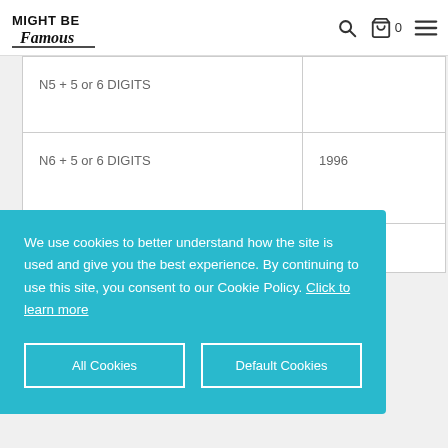[Figure (logo): Might Be Famous logo — bold sans-serif text with script font for 'Famous']
| Format | Year |
| --- | --- |
| N5 + 5 or 6 DIGITS |  |
| N6 + 5 or 6 DIGITS | 1996 |
|  |  |
We use cookies to better understand how the site is used and give you the best experience. By continuing to use this site, you consent to our Cookie Policy. Click to learn more
All Cookies
Default Cookies